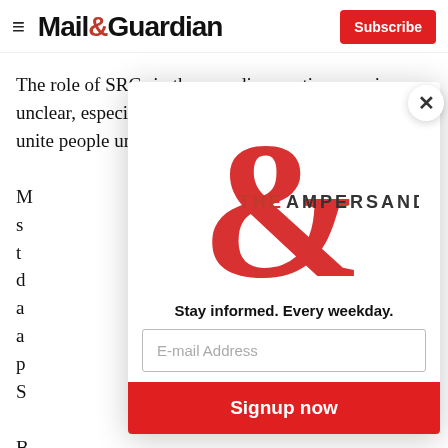Mail&Guardian — Subscribe
The role of SRCs in the new dispensation remains unclear, especially because it is no longer possible to unite people under a common opposition to apartheid.
[Figure (logo): The Ampersand newsletter logo — large red ampersand symbol with 'THE AMPERSAND' text]
Stay informed. Every weekday.
E-mail Address
Signup now